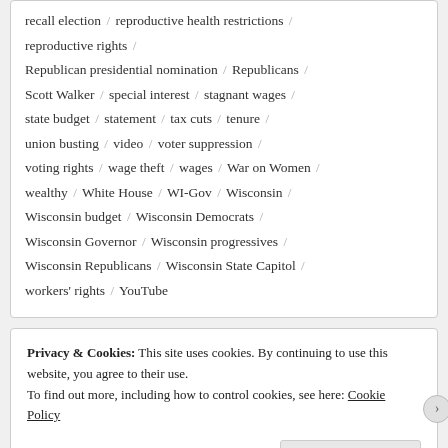recall election / reproductive health restrictions / reproductive rights / Republican presidential nomination / Republicans / Scott Walker / special interest / stagnant wages / state budget / statement / tax cuts / tenure / union busting / video / voter suppression / voting rights / wage theft / wages / War on Women / wealthy / White House / WI-Gov / Wisconsin / Wisconsin budget / Wisconsin Democrats / Wisconsin Governor / Wisconsin progressives / Wisconsin Republicans / Wisconsin State Capitol / workers' rights / YouTube
Privacy & Cookies: This site uses cookies. By continuing to use this website, you agree to their use. To find out more, including how to control cookies, see here: Cookie Policy